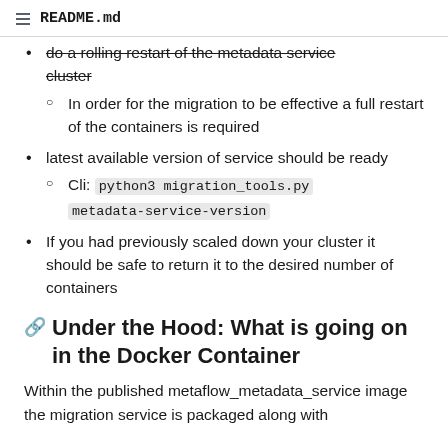README.md
do a rolling restart of the metadata service cluster
In order for the migration to be effective a full restart of the containers is required
latest available version of service should be ready
Cli: python3 migration_tools.py metadata-service-version
If you had previously scaled down your cluster it should be safe to return it to the desired number of containers
Under the Hood: What is going on in the Docker Container
Within the published metaflow_metadata_service image the migration service is packaged along with